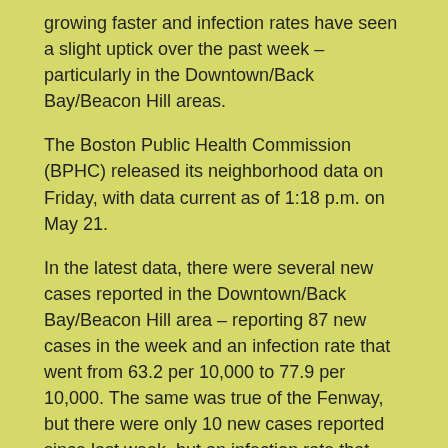growing faster and infection rates have seen a slight uptick over the past week – particularly in the Downtown/Back Bay/Beacon Hill areas.
The Boston Public Health Commission (BPHC) released its neighborhood data on Friday, with data current as of 1:18 p.m. on May 21.
In the latest data, there were several new cases reported in the Downtown/Back Bay/Beacon Hill area – reporting 87 new cases in the week and an infection rate that went from 63.2 per 10,000 to 77.9 per 10,000. The same was true of the Fenway, but there were only 10 new cases reported since last week, but an infection rate that went up to 47.9 per 10,000. That was a modest increase compared to Downtown/Back Bay/Beacon Hill where there is a noticeable uptick.
The South End's numbers, as has been the case for months in the data, is tied to the testing of the homeless population in the shelters, hospitals and Pine Street Inn – all in the South End. This